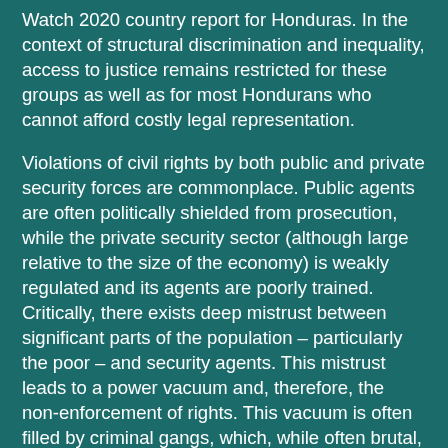Watch 2020 country report for Honduras. In the context of structural discrimination and inequality, access to justice remains restricted for these groups as well as for most Hondurans who cannot afford costly legal representation.
Violations of civil rights by both public and private security forces are commonplace. Public agents are often politically shielded from prosecution, while the private security sector (although large relative to the size of the economy) is weakly regulated and its agents are poorly trained. Critically, there exists deep mistrust between significant parts of the population – particularly the poor – and security agents. This mistrust leads to a power vacuum and, therefore, the non-enforcement of rights. This vacuum is often filled by criminal gangs, which, while often brutal, do at least guarantee some form of order.
Violence in Honduras continues to run at extraordinarily high levels by regional and global standards, and is committed both by agents of the state and non-state criminal groups. This violence is committed primarily against poorer segments of the population as well as minority groups, such as the LGBTQ+ community, the